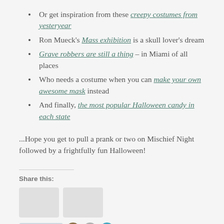Or get inspiration from these creepy costumes from yesteryear
Ron Mueck's Mass exhibition is a skull lover's dream
Grave robbers are still a thing – in Miami of all places
Who needs a costume when you can make your own awesome mask instead
And finally, the most popular Halloween candy in each state
...Hope you get to pull a prank or two on Mischief Night followed by a frightfully fun Halloween!
Share this: